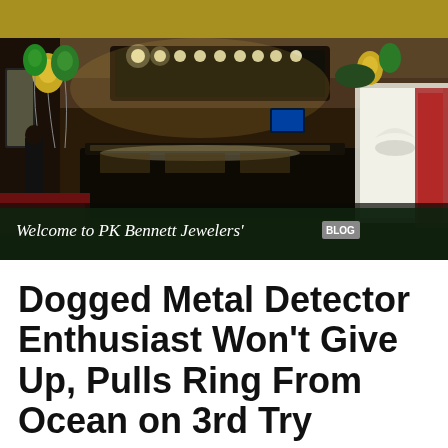[Figure (photo): Interior panoramic photo of PK Bennett Jewelers store with display cases, ceiling lights, green and gold balloons, and a banner reading 'Welcome to PK Bennett Jewelers' BLOG']
Dogged Metal Detector Enthusiast Won't Give Up, Pulls Ring From Ocean on 3rd Try